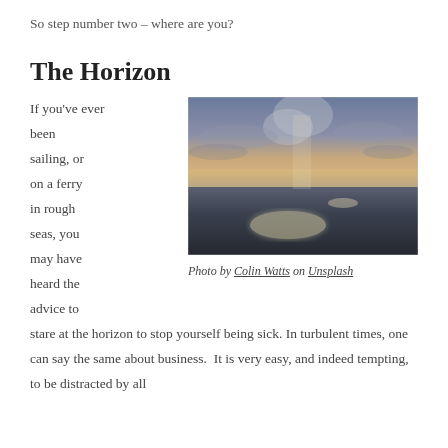So step number two – where are you?
The Horizon
[Figure (photo): Ocean horizon at sunset with golden light reflecting on calm dark water and cloudy sky above]
Photo by Colin Watts on Unsplash
If you've ever been sailing, or on a ferry in rough seas, you may have heard the advice to stare at the horizon to stop yourself being sick. In turbulent times, one can say the same about business.  It is very easy, and indeed tempting, to be distracted by all